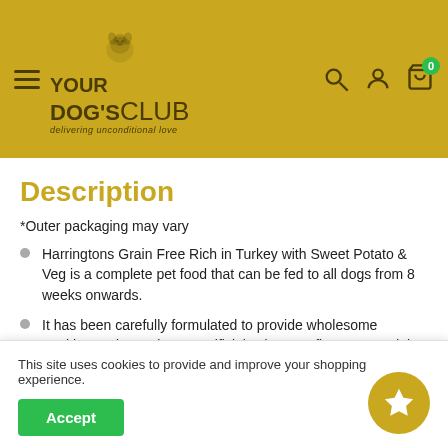[Figure (logo): Your Dog's Club logo with golden retriever illustration on yellow/gold header background with hamburger menu and cart/search/account icons]
Description
*Outer packaging may vary
Harringtons Grain Free Rich in Turkey with Sweet Potato & Veg is a complete pet food that can be fed to all dogs from 8 weeks onwards.
It has been carefully formulated to provide wholesome nutrition and contains no artificial colours or flavours, no dairy, no soya and no added wheat.
Harringtons Grain Free Rich in Turkey with Sweet Potato & Veg is a
This site uses cookies to provide and improve your shopping experience.
Accept